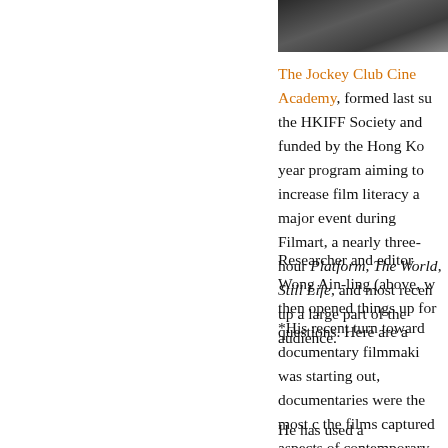[Figure (photo): Dark photo strip at top of right column, partial image of people]
The Jockey Club Cine Academy, formed last su the HKIFF Society and funded by the Hong Ko year program aiming to increase film literacy a major event during Filmart, a nearly three-hour Platform, The World, Still Life, and most recen up a large part of the audience.
Researcher and editor Wong Ain-ling (above, w then opened things up for questions. Here are a
*His recent turn toward documentary filmmaki was starting out, documentaries were the most c the films captured aspects of contemporary life seldom watched by audiences. So the question t ecology?"
He has used a documentary project to spark a fi for Unknown Pleasures. Jia enjoyed eliminatin documentaries, relying on peoples’ faces and si